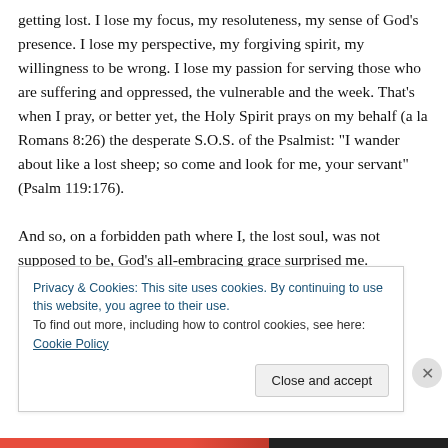getting lost. I lose my focus, my resoluteness, my sense of God’s presence. I lose my perspective, my forgiving spirit, my willingness to be wrong. I lose my passion for serving those who are suffering and oppressed, the vulnerable and the week. That’s when I pray, or better yet, the Holy Spirit prays on my behalf (a la Romans 8:26) the desperate S.O.S. of the Psalmist: “I wander about like a lost sheep; so come and look for me, your servant” (Psalm 119:176).
And so, on a forbidden path where I, the lost soul, was not supposed to be, God’s all-embracing grace surprised me.
Privacy & Cookies: This site uses cookies. By continuing to use this website, you agree to their use.
To find out more, including how to control cookies, see here: Cookie Policy